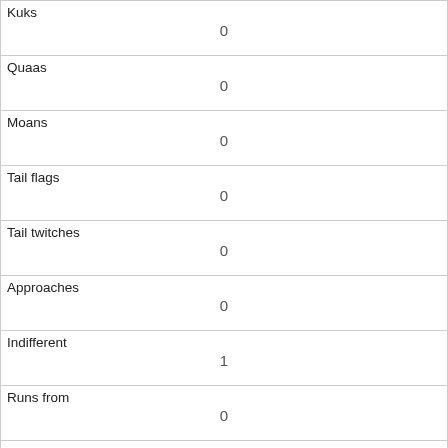| Kuks | 0 |
| Quaas | 0 |
| Moans | 0 |
| Tail flags | 0 |
| Tail twitches | 0 |
| Approaches | 0 |
| Indifferent | 1 |
| Runs from | 0 |
| Other Interactions |  |
| Lat/Long | POINT (-73.9757413215621 40.7692582758978) |